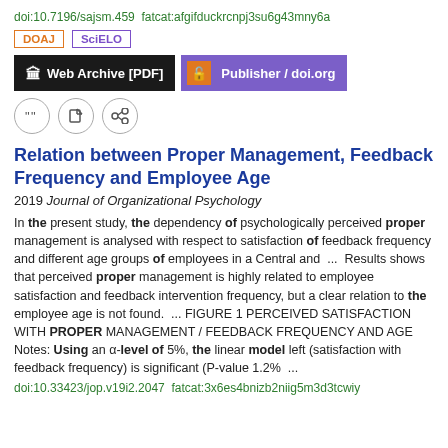doi:10.7196/sajsm.459  fatcat:afgifduckrcnpj3su6g43mny6a
DOAJ  SciELO
Web Archive [PDF]  Publisher / doi.org
Relation between Proper Management, Feedback Frequency and Employee Age
2019 Journal of Organizational Psychology
In the present study, the dependency of psychologically perceived proper management is analysed with respect to satisfaction of feedback frequency and different age groups of employees in a Central and  ...  Results shows that perceived proper management is highly related to employee satisfaction and feedback intervention frequency, but a clear relation to the employee age is not found.  ...  FIGURE 1 PERCEIVED SATISFACTION WITH PROPER MANAGEMENT / FEEDBACK FREQUENCY AND AGE Notes: Using an α-level of 5%, the linear model left (satisfaction with feedback frequency) is significant (P-value 1.2%  ...
doi:10.33423/jop.v19i2.2047  fatcat:3x6es4bnizb2niig5m3d3tcwiy